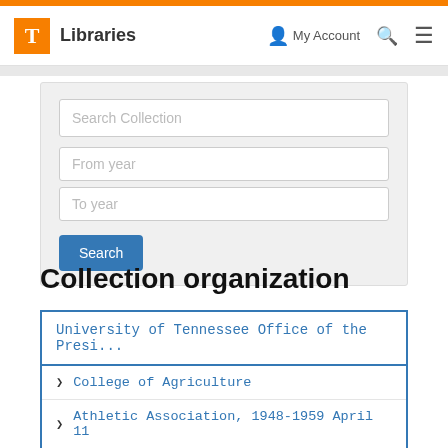T Libraries | My Account | Search | Menu
Search Collection
From year
To year
Search
Collection organization
University of Tennessee Office of the Presi...
College of Agriculture
Athletic Association, 1948-1959 April 11
Setting up the Athletic Department